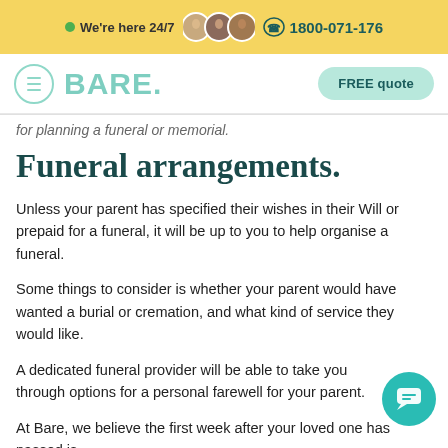We're here 24/7  1800-071-176
[Figure (logo): BARE funeral services logo with hamburger menu icon and FREE quote button]
for planning a funeral or memorial.
Funeral arrangements.
Unless your parent has specified their wishes in their Will or prepaid for a funeral, it will be up to you to help organise a funeral.
Some things to consider is whether your parent would have wanted a burial or cremation, and what kind of service they would like.
A dedicated funeral provider will be able to take you through options for a personal farewell for your parent.
At Bare, we believe the first week after your loved one has passed is